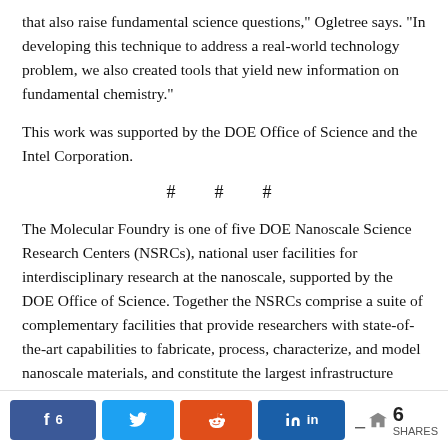that also raise fundamental science questions," Ogletree says. "In developing this technique to address a real-world technology problem, we also created tools that yield new information on fundamental chemistry."
This work was supported by the DOE Office of Science and the Intel Corporation.
# # #
The Molecular Foundry is one of five DOE Nanoscale Science Research Centers (NSRCs), national user facilities for interdisciplinary research at the nanoscale, supported by the DOE Office of Science. Together the NSRCs comprise a suite of complementary facilities that provide researchers with state-of-the-art capabilities to fabricate, process, characterize, and model nanoscale materials, and constitute the largest infrastructure investment of the National Nanotechnology Initiative. The NSRCs are located at DOE's Argonne, Brookhaven, Lawrence Be